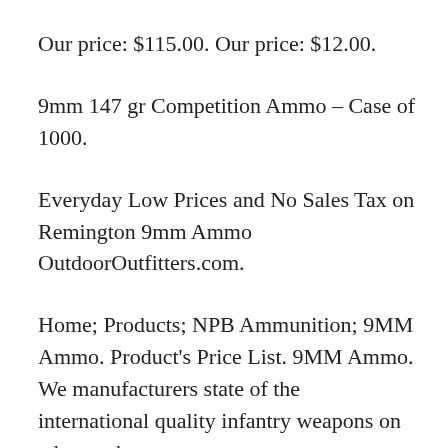Our price: $115.00. Our price: $12.00.
9mm 147 gr Competition Ammo – Case of 1000.
Everyday Low Prices and No Sales Tax on Remington 9mm Ammo OutdoorOutfitters.com.
Home; Products; NPB Ammunition; 9MM Ammo. Product's Price List. 9MM Ammo. We manufacturers state of the international quality infantry weapons on advanced.
Fine neighborhood ammo is POF wah's 9mm rounds. Finest.Higher than imported. Each spherical